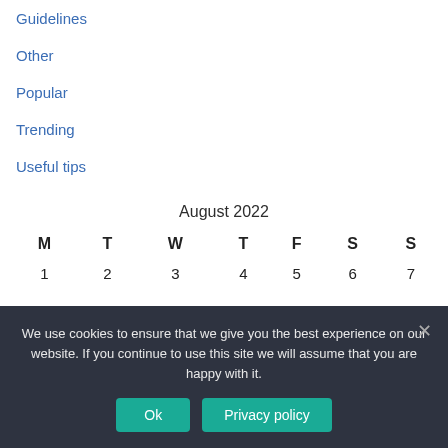Guidelines
Other
Popular
Trending
Useful tips
| M | T | W | T | F | S | S |
| --- | --- | --- | --- | --- | --- | --- |
| 1 | 2 | 3 | 4 | 5 | 6 | 7 |
We use cookies to ensure that we give you the best experience on our website. If you continue to use this site we will assume that you are happy with it.
Ok   Privacy policy